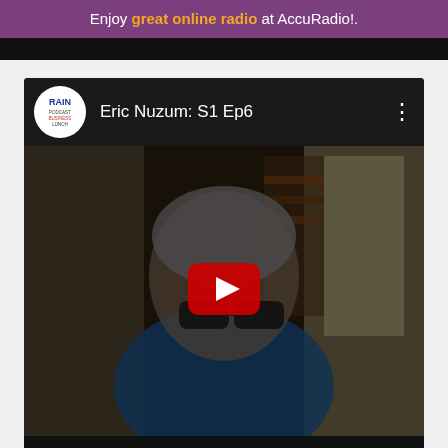Enjoy great online radio at AccuRadio!.
[Figure (screenshot): YouTube-style embedded video player showing Eric Nuzum: S1 Ep6 with RAIN Podcast Business Lunch logo, thumbnail of a man with gray hair and glasses wearing a blue denim jacket, with a YouTube play button overlay]